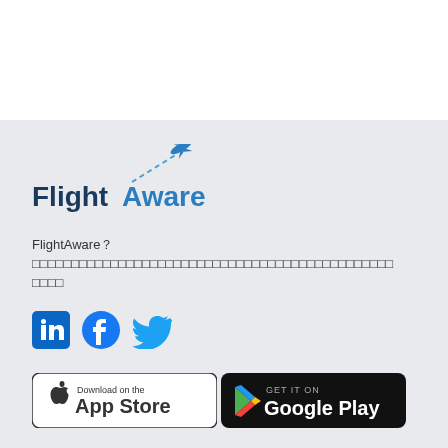[Figure (logo): FlightAware logo with airplane icon and dashed flight path]
FlightAware？ □□□□□□□□□□□□□□□□□□□□□□□□□□□□□□□□□□□□□□□□□□□□□□□□□□□□□□
[Figure (other): Social media icons: LinkedIn, Facebook, Twitter]
[Figure (other): Download on the App Store badge]
[Figure (other): GET IT ON Google Play badge]